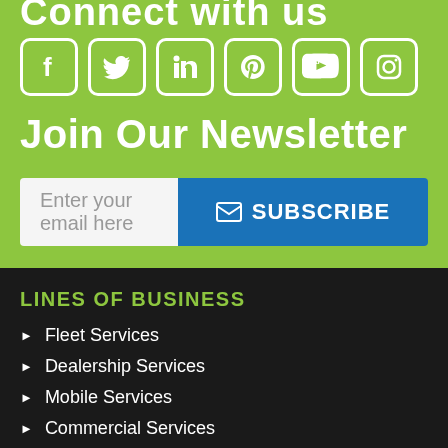Connect with us
[Figure (illustration): Social media icons: Facebook, Twitter, LinkedIn, Pinterest, YouTube, Instagram — white outlined icons on green background]
Join Our Newsletter
Enter your email here   SUBSCRIBE
LINES OF BUSINESS
Fleet Services
Dealership Services
Mobile Services
Commercial Services